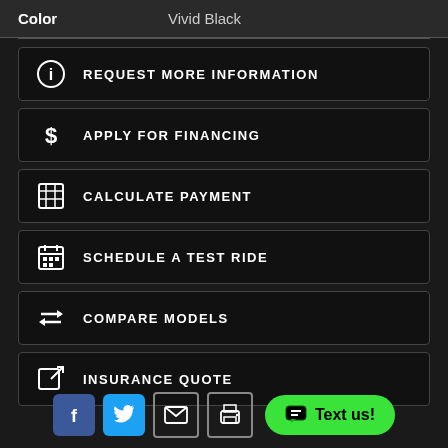| Color | Vivid Black |
| --- | --- |
REQUEST MORE INFORMATION
APPLY FOR FINANCING
CALCULATE PAYMENT
SCHEDULE A TEST RIDE
COMPARE MODELS
INSURANCE QUOTE
Facebook | Twitter | Email | Print | Text us!